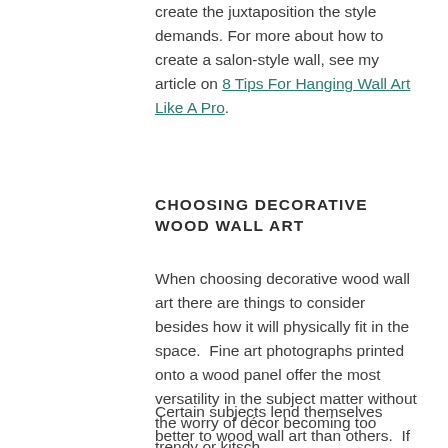create the juxtaposition the style demands. For more about how to create a salon-style wall, see my article on 8 Tips For Hanging Wall Art Like A Pro.
CHOOSING DECORATIVE WOOD WALL ART
When choosing decorative wood wall art there are things to consider besides how it will physically fit in the space.  Fine art photographs printed onto a wood panel offer the most versatility in the subject matter without the worry of décor becoming too trendy or kitsch.
Certain subjects lend themselves better to wood wall art than others.  If you want the